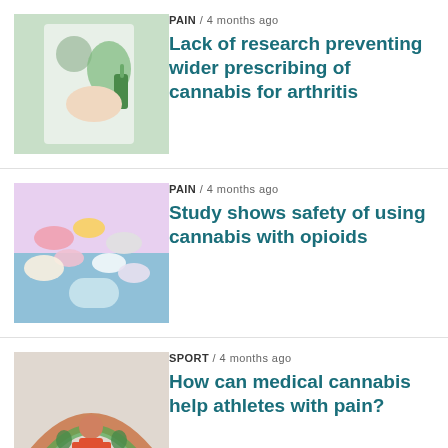[Figure (photo): Doctor in white coat holding cannabis plant and dropper bottle]
PAIN / 4 months ago
Lack of research preventing wider prescribing of cannabis for arthritis
[Figure (photo): Colorful pills and medication on a blue surface]
PAIN / 4 months ago
Study shows safety of using cannabis with opioids
[Figure (photo): Athlete with cannabis-themed rainbow illustration]
SPORT / 4 months ago
How can medical cannabis help athletes with pain?
We use cookies on our website to give you the most relevant experience by remembering your preferences and repeat visits. By clicking “Accept”, you consent to the use of ALL the cookies.
Cookie settings
ACCEPT